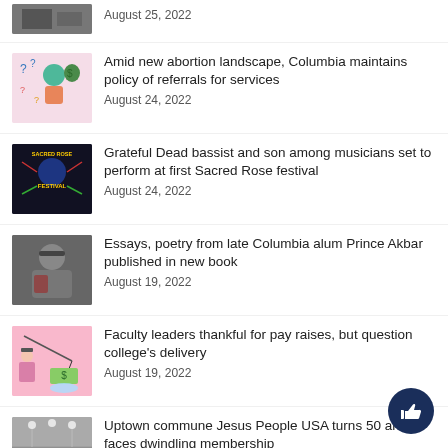August 25, 2022
Amid new abortion landscape, Columbia maintains policy of referrals for services
August 24, 2022
Grateful Dead bassist and son among musicians set to perform at first Sacred Rose festival
August 24, 2022
Essays, poetry from late Columbia alum Prince Akbar published in new book
August 19, 2022
Faculty leaders thankful for pay raises, but question college's delivery
August 19, 2022
Uptown commune Jesus People USA turns 50 and faces dwindling membership
August 16, 2022